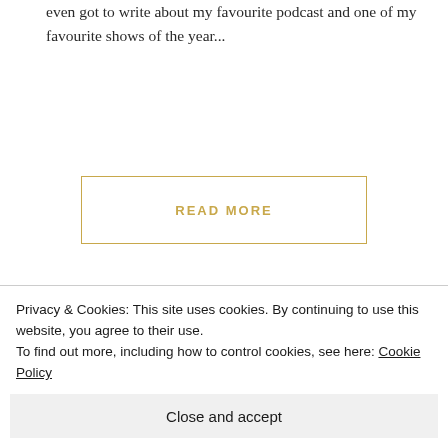even got to write about my favourite podcast and one of my favourite shows of the year...
READ MORE
bambibiohazard
0 Comments
[Figure (illustration): Partial view of a colourful circular logo with text 'NG SU' visible, pink and yellow arcs on white background]
Privacy & Cookies: This site uses cookies. By continuing to use this website, you agree to their use.
To find out more, including how to control cookies, see here: Cookie Policy
Close and accept